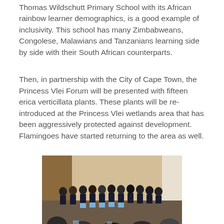Thomas Wildschutt Primary School with its African rainbow learner demographics, is a good example of inclusivity. This school has many Zimbabweans, Congolese, Malawians and Tanzanians learning side by side with their South African counterparts.
Then, in partnership with the City of Cape Town, the Princess Vlei Forum will be presented with fifteen erica verticillata plants. These plants will be re-introduced at the Princess Vlei wetlands area that has been aggressively protected against development. Flamingoes have started returning to the area as well.
[Figure (photo): A group of school children in uniforms (dark tops and blue skirts/trousers) standing in a row inside a hall, with an audience in front of them and curtains in the background.]